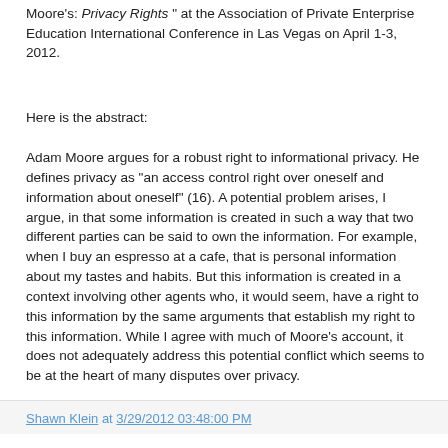Moore's: Privacy Rights " at the Association of Private Enterprise Education International Conference in Las Vegas on April 1-3, 2012.
Here is the abstract:
Adam Moore argues for a robust right to informational privacy. He defines privacy as "an access control right over oneself and information about oneself" (16). A potential problem arises, I argue, in that some information is created in such a way that two different parties can be said to own the information. For example, when I buy an espresso at a cafe, that is personal information about my tastes and habits. But this information is created in a context involving other agents who, it would seem, have a right to this information by the same arguments that establish my right to this information. While I agree with much of Moore's account, it does not adequately address this potential conflict which seems to be at the heart of many disputes over privacy.
Shawn Klein at 3/29/2012 03:48:00 PM